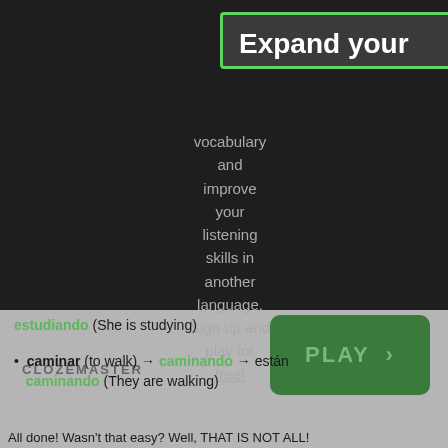[Figure (screenshot): Clozemaster app modal popup with green border on dark background, showing 'Expand your vocabulary and improve your listening skills in another language. Sign up and play for free!' with a PLAY button and Clozemaster logo]
estudiando (She is studying)
caminar (to walk) → caminando → están caminando (They are walking)
All done! Wasn't that easy? Well, THAT IS NOT ALL!